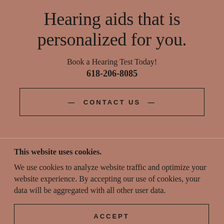Hearing aids that is personalized for you.
Book a Hearing Test Today!
618-206-8085
— CONTACT US —
This website uses cookies.
We use cookies to analyze website traffic and optimize your website experience. By accepting our use of cookies, your data will be aggregated with all other user data.
ACCEPT